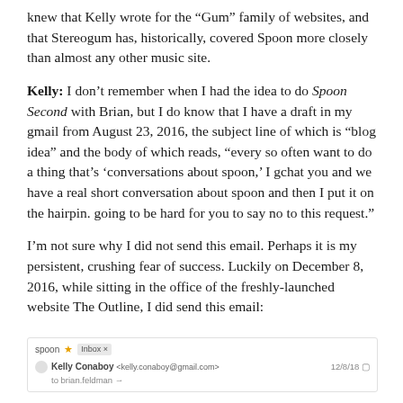knew that Kelly wrote for the “Gum” family of websites, and that Stereogum has, historically, covered Spoon more closely than almost any other music site.
Kelly: I don’t remember when I had the idea to do Spoon Second with Brian, but I do know that I have a draft in my gmail from August 23, 2016, the subject line of which is “blog idea” and the body of which reads, “every so often want to do a thing that’s ‘conversations about spoon,’ I gchat you and we have a real short conversation about spoon and then I put it on the hairpin. going to be hard for you to say no to this request.”
I’m not sure why I did not send this email. Perhaps it is my persistent, crushing fear of success. Luckily on December 8, 2016, while sitting in the office of the freshly-launched website The Outline, I did send this email:
[Figure (screenshot): Gmail email preview showing a message with subject 'spoon', starring, inbox tag, from Kelly Conaboy to brian.feldman, dated 12/8/18]